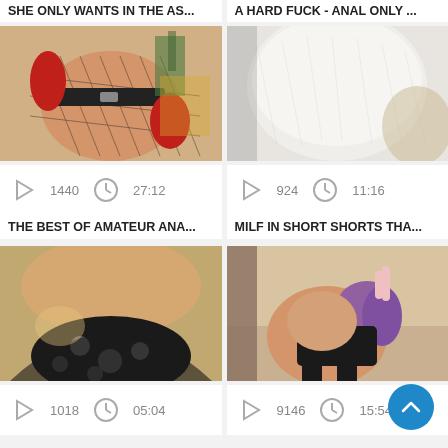SHE ONLY WANTS IN THE AS...
A HARD FUCK - ANAL ONLY ...
[Figure (photo): Thumbnail of woman in fishnet bodysuit with red gloves and leather belt]
[Figure (photo): Thumbnail of white fabric/clothing close-up]
1440   27:12
924   11:16
THE BEST OF AMATEUR ANA...
MILF IN SHORT SHORTS THA...
[Figure (photo): Thumbnail of dark floral fabric close-up]
[Figure (photo): Thumbnail of woman in lingerie with purple hair]
1018   05:04
9146   15:54